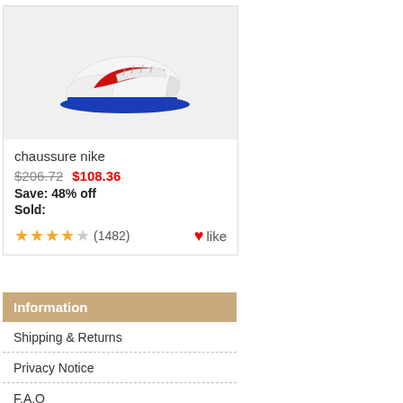[Figure (photo): Nike Cortez sneaker, white with red swoosh and blue sole, on light grey background]
chaussure nike
$206.72  $108.36
Save: 48% off
Sold:
★★★★☆ (1482)  ♥like
Information
Shipping & Returns
Privacy Notice
F.A.Q
Contact Us
Site Map